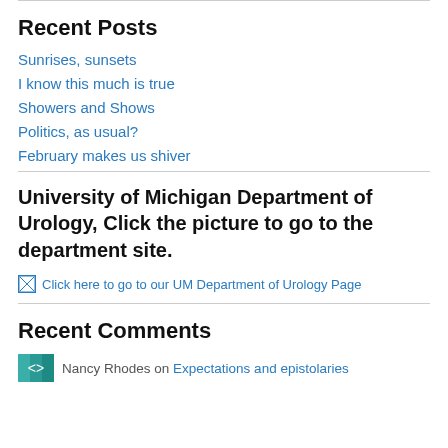Recent Posts
Sunrises, sunsets
I know this much is true
Showers and Shows
Politics, as usual?
February makes us shiver
University of Michigan Department of Urology, Click the picture to go to the department site.
[Figure (other): Broken image placeholder with alt text: Click here to go to our UM Department of Urology Page]
Recent Comments
Nancy Rhodes on Expectations and epistolaries